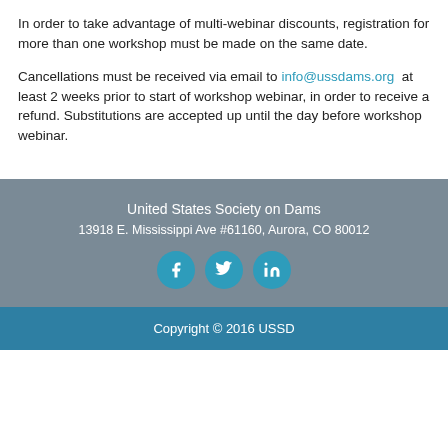In order to take advantage of multi-webinar discounts, registration for more than one workshop must be made on the same date.
Cancellations must be received via email to info@ussdams.org at least 2 weeks prior to start of workshop webinar, in order to receive a refund. Substitutions are accepted up until the day before workshop webinar.
United States Society on Dams
13918 E. Mississippi Ave #61160, Aurora, CO 80012
Copyright © 2016 USSD